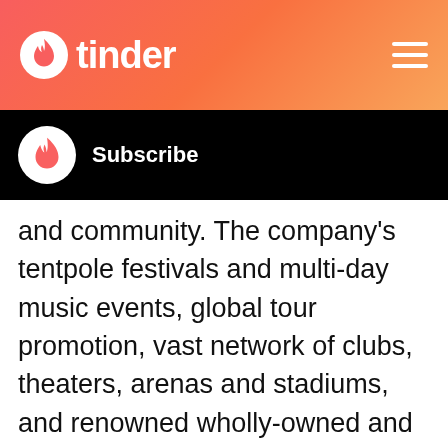tinder
[Figure (logo): Tinder app logo with flame icon and hamburger menu]
Subscribe
and community. The company's tentpole festivals and multi-day music events, global tour promotion, vast network of clubs, theaters, arenas and stadiums, and renowned wholly-owned and partner brands combine to create an unmatched infrastructure for artist development and audience reach, while continuing to set the bar for the live music experience. More information can be found at www.aegpresents.com